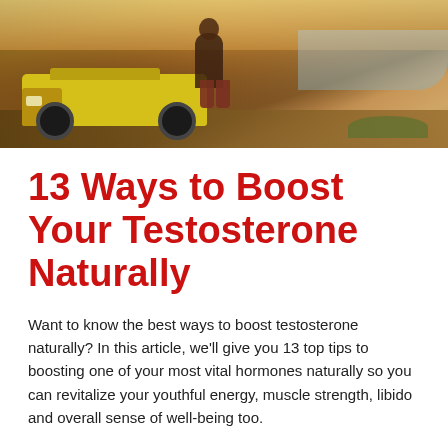[Figure (photo): Photo of a yellow off-road vehicle/buggy parked outdoors near the coast, with a person sitting on the front hood, warm golden-hour lighting]
13 Ways to Boost Your Testosterone Naturally
Want to know the best ways to boost testosterone naturally? In this article, we'll give you 13 top tips to boosting one of your most vital hormones naturally so you can revitalize your youthful energy, muscle strength, libido and overall sense of well-being too.
There's one way to emasculate a man. And that's take away his testosterone. Your body produces this hormone naturally and for good reason. It builds confidence, boosts your libido, gives you physical (and mental) strength, builds